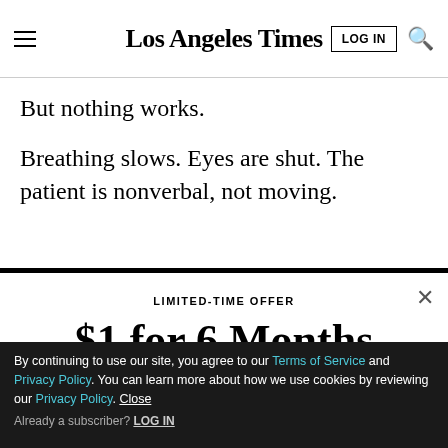Los Angeles Times
But nothing works.
Breathing slows. Eyes are shut. The patient is nonverbal, not moving.
LIMITED-TIME OFFER
$1 for 6 Months
SUBSCRIBE NOW
By continuing to use our site, you agree to our Terms of Service and Privacy Policy. You can learn more about how we use cookies by reviewing our Privacy Policy. Close
Already a subscriber? LOG IN